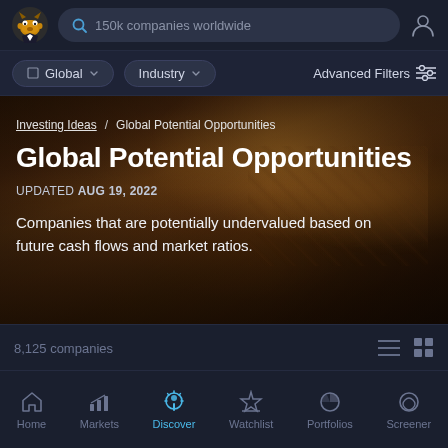150k companies worldwide
Global  |  Industry  |  Advanced Filters
[Figure (screenshot): Hero banner with market bazaar background image showing illuminated stalls and warm orange lighting]
Investing Ideas / Global Potential Opportunities
Global Potential Opportunities
UPDATED Aug 19, 2022
Companies that are potentially undervalued based on future cash flows and market ratios.
8,125 companies
Home  Markets  Discover  Watchlist  Portfolios  Screener